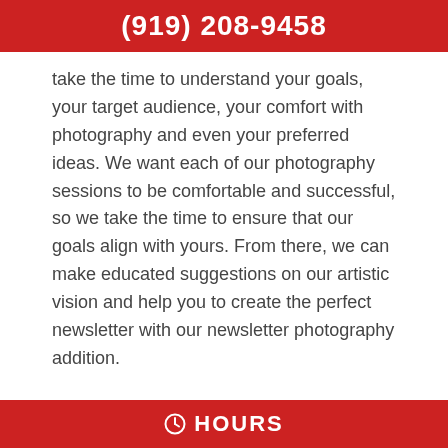(919) 208-9458
take the time to understand your goals, your target audience, your comfort with photography and even your preferred ideas. We want each of our photography sessions to be comfortable and successful, so we take the time to ensure that our goals align with yours. From there, we can make educated suggestions on our artistic vision and help you to create the perfect newsletter with our newsletter photography addition.

Our photographers have skills not only in portraits and group photography, but in other areas of photography as well, such as
HOURS